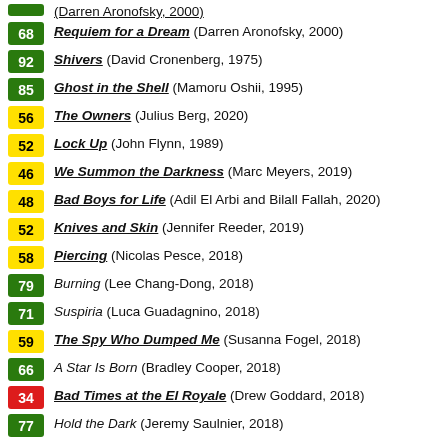(partial top entry)
68 Requiem for a Dream (Darren Aronofsky, 2000)
92 Shivers (David Cronenberg, 1975)
85 Ghost in the Shell (Mamoru Oshii, 1995)
56 The Owners (Julius Berg, 2020)
52 Lock Up (John Flynn, 1989)
46 We Summon the Darkness (Marc Meyers, 2019)
48 Bad Boys for Life (Adil El Arbi and Bilall Fallah, 2020)
52 Knives and Skin (Jennifer Reeder, 2019)
58 Piercing (Nicolas Pesce, 2018)
79 Burning (Lee Chang-Dong, 2018)
71 Suspiria (Luca Guadagnino, 2018)
59 The Spy Who Dumped Me (Susanna Fogel, 2018)
66 A Star Is Born (Bradley Cooper, 2018)
34 Bad Times at the El Royale (Drew Goddard, 2018)
77 Hold the Dark (Jeremy Saulnier, 2018)